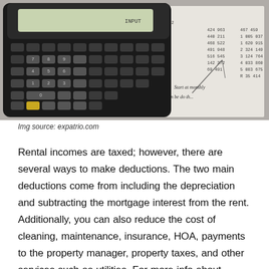[Figure (photo): A black calculator placed on top of financial documents with handwritten numbers. The documents show columns of figures. The image source is expatrio.com.]
Img source: expatrio.com
Rental incomes are taxed; however, there are several ways to make deductions. The two main deductions come from including the depreciation and subtracting the mortgage interest from the rent. Additionally, you can also reduce the cost of cleaning, maintenance, insurance, HOA, payments to the property manager, property taxes, and other services such as utilities. For more info about property managers and management be sure to